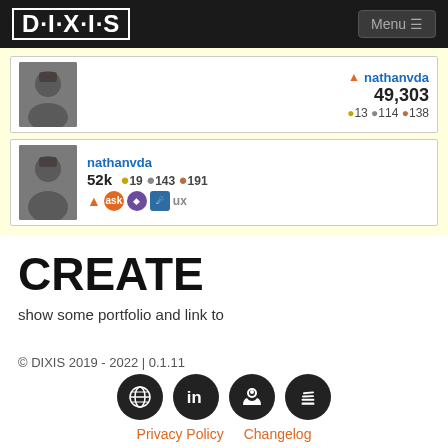DIXIS | Menu
[Figure (screenshot): User card for nathanvda showing score 49,303 with badges 13 gold, 114 silver, 138 bronze]
[Figure (screenshot): User card for nathanvda showing score 52k with badges 19 gold, 143 silver, 191 bronze and site icons]
CREATE
show some portfolio and link to
© DIXIS 2019 - 2022 | 0.1.11
[Figure (infographic): Four dark circular icon buttons: globe, LinkedIn, GitHub, Stack Overflow]
Privacy Policy  Changelog